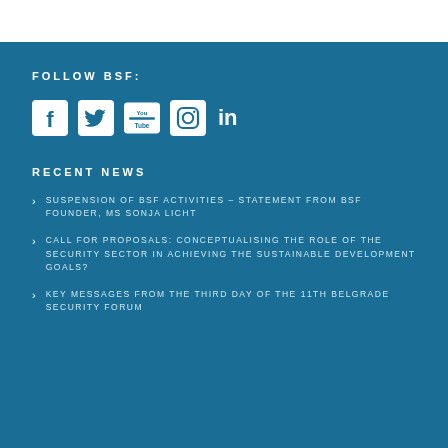FOLLOW BSF:
[Figure (other): Social media icons: Facebook, Twitter, YouTube, Instagram, LinkedIn]
RECENT NEWS
SUSPENSION OF BSF ACTIVITIES – STATEMENT FROM BSF FOUNDER, MS SONJA LICHT
CALL FOR PROPOSALS: CONCEPTUALISING THE ROLE OF THE SECURITY SECTOR IN ACHIEVING THE SUSTAINABLE DEVELOPMENT GOALS?
KEY MESSAGES FROM THE THIRD DAY OF THE 11TH BELGRADE SECURITY FORUM